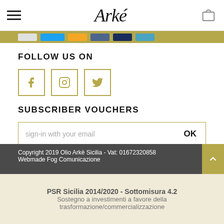Arké (logo) with hamburger menu and bag icon
FOLLOW US ON
[Figure (illustration): Three social media icon boxes: Facebook (f), Instagram (camera), Twitter (bird), all in gold border]
SUBSCRIBER VOUCHERS
sign-in with your email   OK
Copyright 2019 Olio Arkè Sicilia - Vat: 01672320858
Webmade Fog Comunicazione
PSR Sicilia 2014/2020 - Sottomisura 4.2
Sostegno a investimenti a favore della
trasformazione/commercializzazione